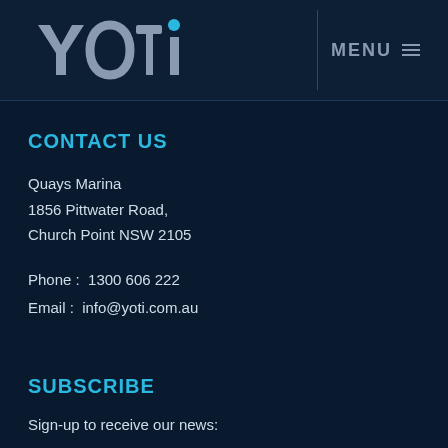[Figure (logo): YOTI logo - sailing as it should be]
MENU ≡
CONTACT US
Quays Marina
1856 Pittwater Road,
Church Point NSW 2105
Phone :  1300 606 222
Email :  info@yoti.com.au
SUBSCRIBE
Sign-up to receive our news: